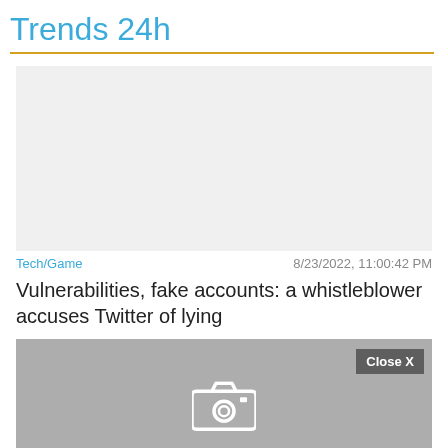Trends 24h
[Figure (photo): Gray placeholder image for article thumbnail]
Tech/Game   8/23/2022, 11:00:42 PM
Vulnerabilities, fake accounts: a whistleblower accuses Twitter of lying
[Figure (photo): Gray placeholder image with camera icon and Close X button]